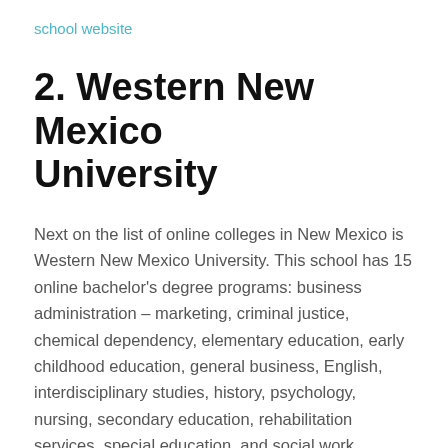school website
2. Western New Mexico University
Next on the list of online colleges in New Mexico is Western New Mexico University. This school has 15 online bachelor's degree programs: business administration – marketing, criminal justice, chemical dependency, elementary education, early childhood education, general business, English, interdisciplinary studies, history, psychology, nursing, secondary education, rehabilitation services, special education, and social work.